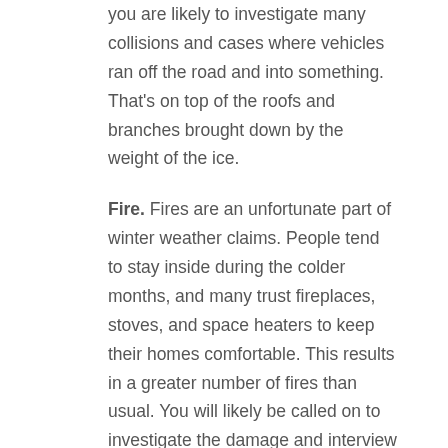you are likely to investigate many collisions and cases where vehicles ran off the road and into something. That's on top of the roofs and branches brought down by the weight of the ice.
Fire. Fires are an unfortunate part of winter weather claims. People tend to stay inside during the colder months, and many trust fireplaces, stoves, and space heaters to keep their homes comfortable. This results in a greater number of fires than usual. You will likely be called on to investigate the damage and interview the families involved.
Hail. If you're from Texas, you know this hazard